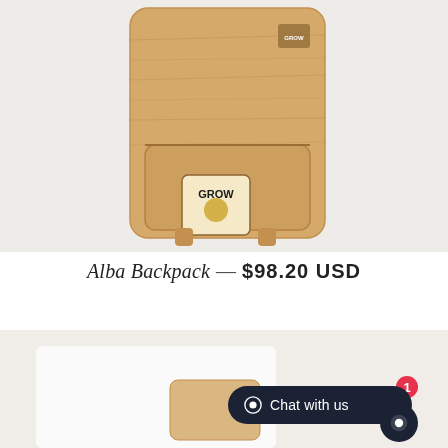[Figure (photo): Cork textured backpack (Alba Backpack) with a GROW brand tag hanging from it, shown against a light gray background.]
Alba Backpack — $98.20 USD
[Figure (photo): Partial view of another product, appears to be a cork or leather item, shown against a light gray background, partially cropped at page bottom.]
Chat with us